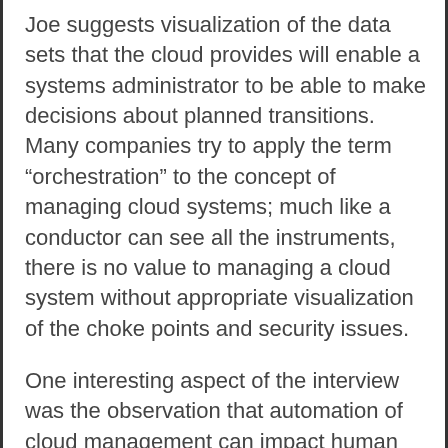Joe suggests visualization of the data sets that the cloud provides will enable a systems administrator to be able to make decisions about planned transitions. Many companies try to apply the term “orchestration” to the concept of managing cloud systems; much like a conductor can see all the instruments, there is no value to managing a cloud system without appropriate visualization of the choke points and security issues.
One interesting aspect of the interview was the observation that automation of cloud management can impact human resources. Everybody laments the challenge of hiring people with technical skills. One way of